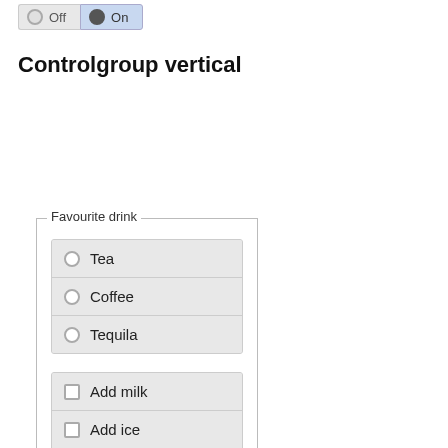[Figure (screenshot): Two toggle buttons labeled Off, the second one highlighted in blue]
Controlgroup vertical
[Figure (screenshot): A fieldset labeled Favourite drink containing a vertical radio button group with Tea, Coffee, Tequila and a vertical checkbox group with Add milk, Add ice, Add vodka]